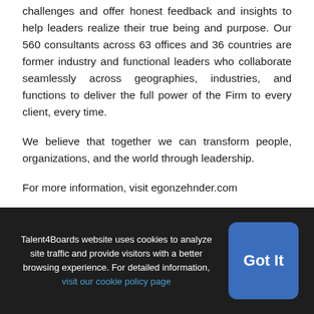challenges and offer honest feedback and insights to help leaders realize their true being and purpose. Our 560 consultants across 63 offices and 36 countries are former industry and functional leaders who collaborate seamlessly across geographies, industries, and functions to deliver the full power of the Firm to every client, every time.
We believe that together we can transform people, organizations, and the world through leadership.
For more information, visit egonzehnder.com
Talent4Boards website uses cookies to analyze site traffic and provide visitors with a better browsing experience. For detailed information, visit our cookie policy page